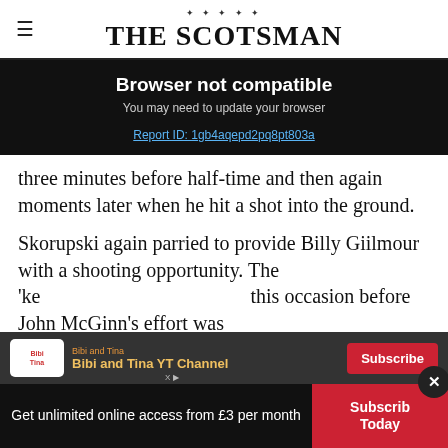THE SCOTSMAN
Browser not compatible
You may need to update your browser
Report ID: 1gb4aqepd2pq8pt803a
three minutes before half-time and then again moments later when he hit a shot into the ground.
Skorupski again parried to provide Billy Giilmour with a shooting opportunity. The 'ke this occasion before John McGinn's effort was
[Figure (infographic): Bibi and Tina YT Channel advertisement banner with Subscribe button]
Get unlimited online access from £3 per month
Subscribe Today